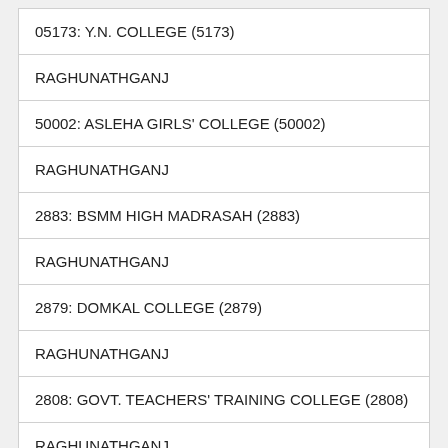05173: Y.N. COLLEGE (5173)
RAGHUNATHGANJ
50002: ASLEHA GIRLS' COLLEGE (50002)
RAGHUNATHGANJ
2883: BSMM HIGH MADRASAH (2883)
RAGHUNATHGANJ
2879: DOMKAL COLLEGE (2879)
RAGHUNATHGANJ
2808: GOVT. TEACHERS' TRAINING COLLEGE (2808)
RAGHUNATHGANJ